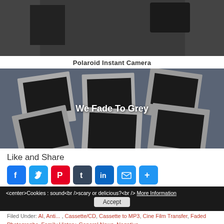[Figure (photo): Dark image of a device (camera/electronics) with text overlay 'Great At The Time']
Polaroid Instant Camera
[Figure (photo): Multiple Polaroid photo frames arranged on a dark blue-grey surface with text overlay 'We Fade To Grey']
Like and Share
[Figure (infographic): Social sharing buttons: Facebook, Twitter, Pinterest, Tumblr, LinkedIn, Email, Share]
<center>Cookies : sound<br />scary or delicious?<br /> More Information
Filed Under: AI, Anti... , Cassette/CD, Cassette to MP3, Cine Film Transfer, Faded Photographs, Family History, General News, Negative